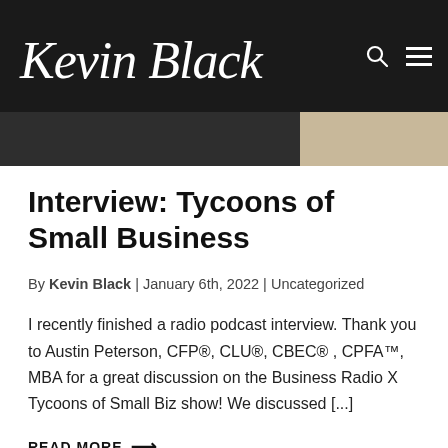Kevin Black
[Figure (photo): Dark hero image strip, partially visible at top of page below header navigation bar]
Interview: Tycoons of Small Business
By Kevin Black | January 6th, 2022 | Uncategorized
I recently finished a radio podcast interview. Thank you to Austin Peterson, CFP®, CLU®, CBEC® , CPFA™, MBA for a great discussion on the Business Radio X Tycoons of Small Biz show! We discussed [...]
READ MORE →